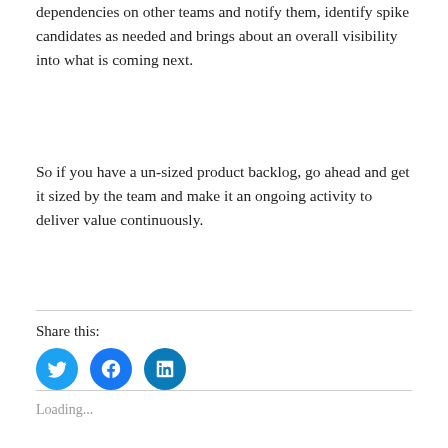dependencies on other teams and notify them, identify spike candidates as needed and brings about an overall visibility into what is coming next.
So if you have a un-sized product backlog, go ahead and get it sized by the team and make it an ongoing activity to deliver value continuously.
Share this:
[Figure (infographic): Three circular social media share buttons: Twitter (blue bird icon), Facebook (blue f icon), LinkedIn (blue in icon)]
Loading...